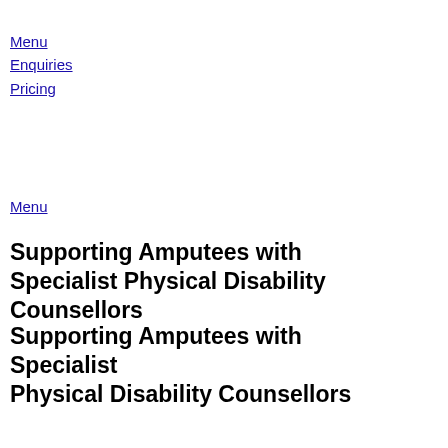Menu
Enquiries
Pricing
Menu
Supporting Amputees with Specialist Physical Disability Counsellors
Supporting Amputees with Specialist Physical Disability Counsellors